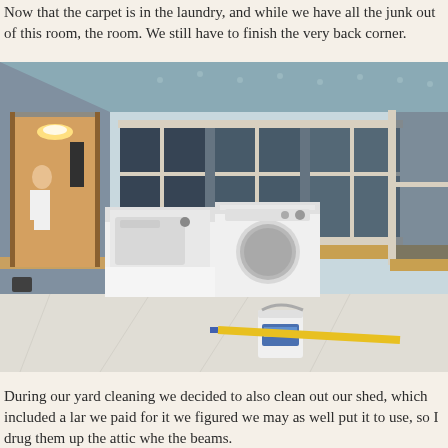Now that the carpet is in the laundry, and while we have all the junk out of the room, the room. We still have to finish the very back corner.
[Figure (photo): Interior photo of a laundry room under renovation. White washer and dryer appliances are visible against light blue/grey walls. The ceiling has exposed drywall with screws visible. Windows with white frames line the back wall and right side. A white plastic bucket and yellow mop handle are on the floor covered with a plastic drop cloth. A person is visible in the left background through a doorway holding what appears to be a mirror or panel.]
During our yard cleaning we decided to also clean out our shed, which included a lar we paid for it we figured we may as well put it to use, so I drug them up the attic whe the beams.